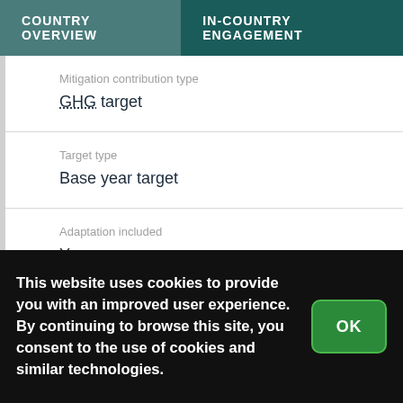COUNTRY OVERVIEW | IN-COUNTRY ENGAGEMENT
Mitigation contribution type
GHG target
Target type
Base year target
Adaptation included
Yes
This website uses cookies to provide you with an improved user experience. By continuing to browse this site, you consent to the use of cookies and similar technologies.